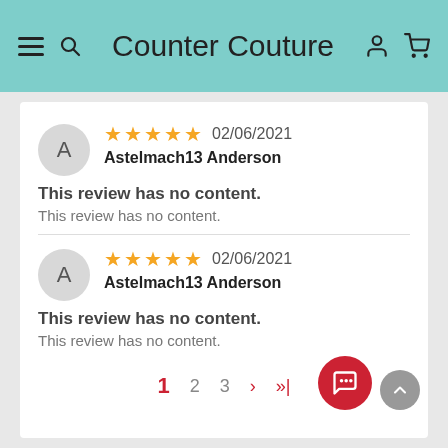Counter Couture
Astelmach13 Anderson — 02/06/2021 — 5 stars
This review has no content.
This review has no content.
Astelmach13 Anderson — 02/06/2021 — 5 stars
This review has no content.
This review has no content.
1  2  3  ›  »|